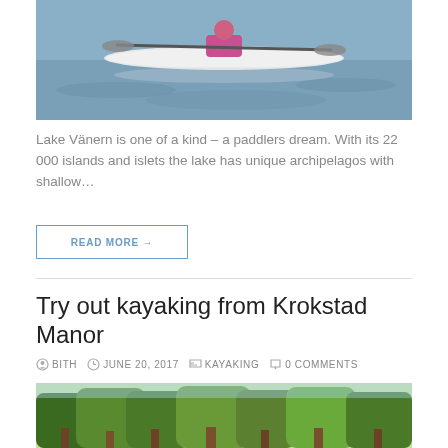[Figure (photo): Person kayaking on a lake, aerial or side view, white kayak on blue-grey water]
Lake Vänern is one of a kind – a paddlers dream. With its 22 000 islands and islets the lake has unique archipelagos with shallow…
READ MORE →
Try out kayaking from Krokstad Manor
BITH   JUNE 20, 2017   KAYAKING   0 COMMENTS
[Figure (photo): Lush green tree canopy viewed from below, sunlight filtering through dense foliage]